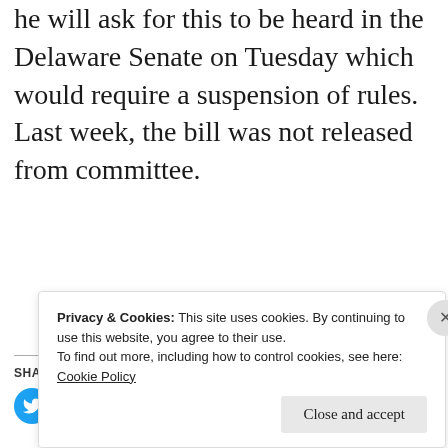he will ask for this to be heard in the Delaware Senate on Tuesday which would require a suspension of rules. Last week, the bill was not released from committee.
SHARE THIS:
[Figure (infographic): Social sharing icons: Twitter (blue), Facebook (blue), Tumblr (dark blue), Pocket (red), Print (light gray), Email (light gray), Reddit (light blue), Pinterest (red), LinkedIn (dark blue)]
Privacy & Cookies: This site uses cookies. By continuing to use this website, you agree to their use. To find out more, including how to control cookies, see here: Cookie Policy